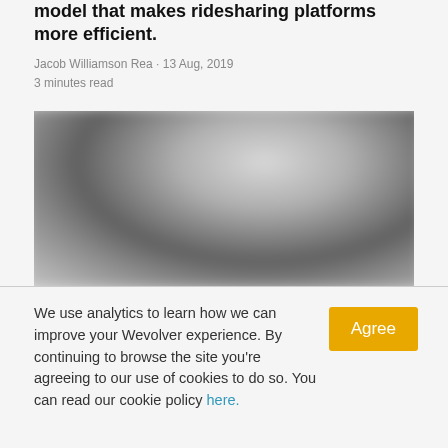model that makes ridesharing platforms more efficient.
Jacob Williamson Rea · 13 Aug, 2019
3 minutes read
[Figure (photo): Blurred/abstract grayscale image, likely a photo related to ridesharing or transportation]
We use analytics to learn how we can improve your Wevolver experience. By continuing to browse the site you're agreeing to our use of cookies to do so. You can read our cookie policy here.